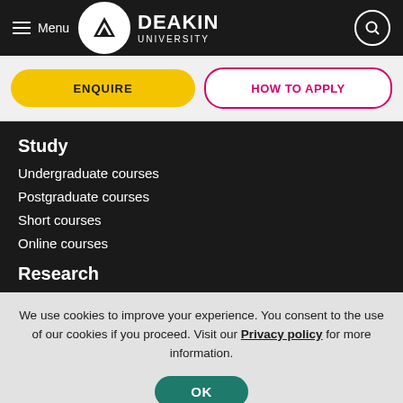Menu | Deakin University
ENQUIRE
HOW TO APPLY
Study
Undergraduate courses
Postgraduate courses
Short courses
Online courses
Research
We use cookies to improve your experience. You consent to the use of our cookies if you proceed. Visit our Privacy policy for more information.
OK